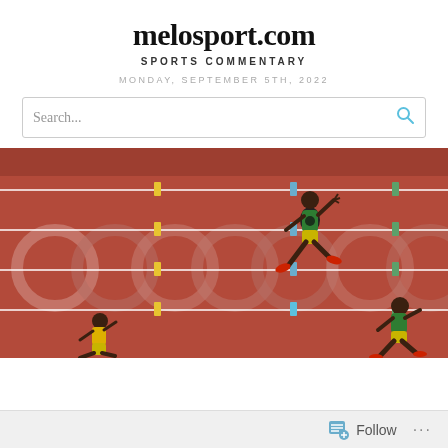melosport.com
SPORTS COMMENTARY
MONDAY, SEPTEMBER 5TH, 2022
Search...
[Figure (photo): Aerial/wide-angle view of sprinters running on an Olympic track with red surface and white lane lines. Olympic rings are visible painted on the track. Multiple runners in yellow-green Jamaica gear are visible. One central runner is captured mid-stride in full detail.]
Follow ...